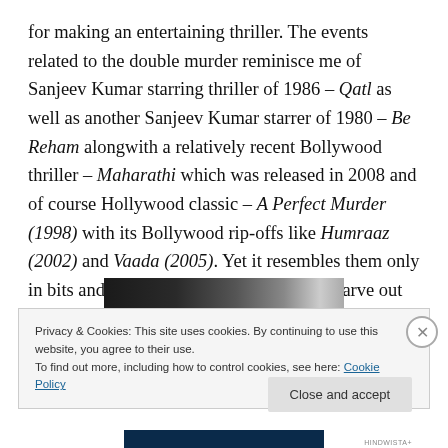for making an entertaining thriller. The events related to the double murder reminisce me of Sanjeev Kumar starring thriller of 1986 – Qatl as well as another Sanjeev Kumar starrer of 1980 – Be Reham alongwith a relatively recent Bollywood thriller – Maharathi which was released in 2008 and of course Hollywood classic – A Perfect Murder (1998) with its Bollywood rip-offs like Humraaz (2002) and Vaada (2005). Yet it resembles them only in bits and pieces and overall it is able to carve out another, different niche for itself.
[Figure (photo): A dark partially visible photo strip showing a scene from a movie]
Privacy & Cookies: This site uses cookies. By continuing to use this website, you agree to their use.
To find out more, including how to control cookies, see here: Cookie Policy
Close and accept